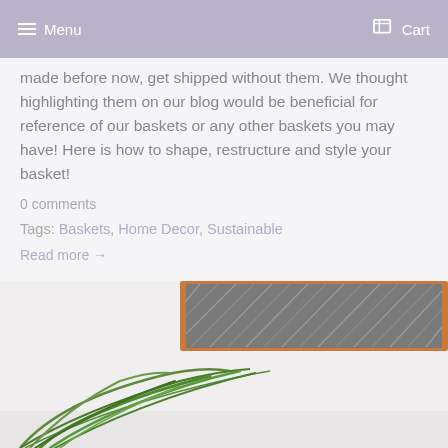Menu   Cart
made before now, get shipped without them. We thought highlighting them on our blog would be beneficial for reference of our baskets or any other baskets you may have! Here is how to shape, restructure and style your basket!
0 comments
Tags: Baskets, Home Decor, Sustainable
Read more →
5 Ways to Purpose Your Storage Basket
Posted by Bradley Schmidt on January 6, 2021
[Figure (photo): Photo of a green plant leaf on a white surface with a wooden-framed artwork on the wall in the background]